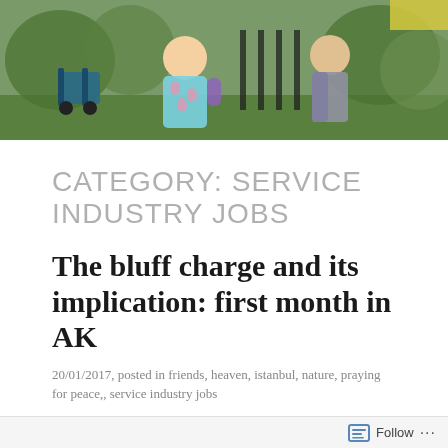[Figure (photo): Outdoor photo showing children playing in a park with green grass, a stroller, and playground equipment in the background]
CATEGORY: SERVICE INDUSTRY JOBS
The bluff charge and its implication: first month in AK
20/01/2017, posted in friends, heaven, istanbul, nature, praying for peace,, service industry jobs
Rain and sleet this week have been fairly legitimate
Follow